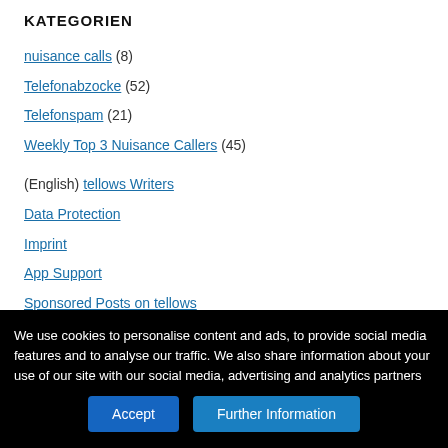KATEGORIEN
nuisance calls (8)
Telefonabzocke (52)
Telefonspam (21)
Weekly Top 3 Nuisance Callers (45)
(English) tellows Writers
Data Protection
Imprint
App Support
Sponsored Posts on tellows
We use cookies to personalise content and ads, to provide social media features and to analyse our traffic. We also share information about your use of our site with our social media, advertising and analytics partners
Accept | Further Information